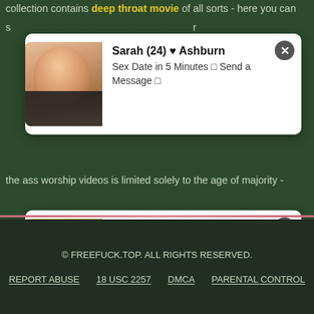collection contains deep throat movie of all sorts - here you can s...
[Figure (screenshot): Notification card 1: Photo of a blonde woman. Text: Sarah (24) ♥ Ashburn. Sex Date in 5 Minutes □ Send a Message □]
the ass worship videos is limited solely to the age of majority -
[Figure (screenshot): Notification card 2: Photo of a blonde woman. Text: Emma (35) sent you a sex request□□ Ashburn. Tap and get her contact □Ashburn □]
and admire the beauty of her body. FreeFuck.top has amassed a huge variety of high quality pussy pumping porn tube videos with girls of all stripes. Satisfy your libido - skip ahead to watching amateur facial videos!
© FREEFUCK.TOP. ALL RIGHTS RESERVED. REPORT ABUSE  18 USC 2257  DMCA  PARENTAL CONTROL